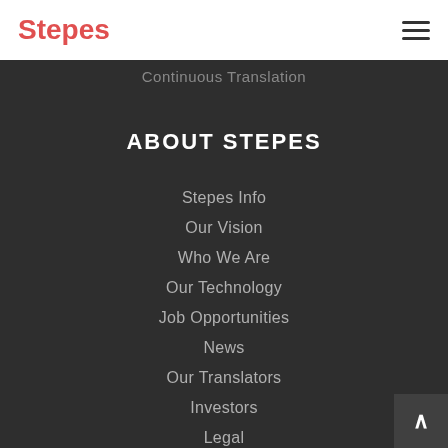Stepes
Continuous Translation
ABOUT STEPES
Stepes Info
Our Vision
Who We Are
Our Technology
Job Opportunities
News
Our Translators
Investors
Legal